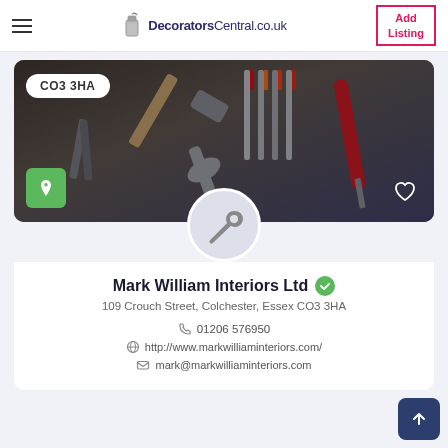DecoratorsCentral.co.uk — Add Listing
[Figure (photo): Banner image showing tools including hammer, screwdrivers, and wrench on a dark background. Postcode badge CO3 3HA, green location icon, and white heart icon overlaid.]
[Figure (illustration): Circular profile icon showing a wrench/spanner on a light grey background.]
Mark William Interiors Ltd
109 Crouch Street, Colchester, Essex CO3 3HA
01206 576950
http://www.markwilliaminteriors.com/
mark@markwilliaminteriors.com